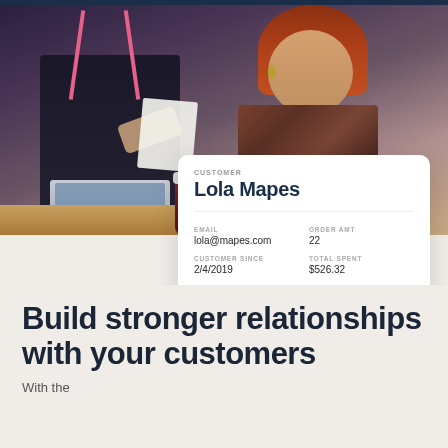[Figure (photo): Two people in a coffee shop setting, one wearing a dark apron with pink straps (barista), the other a woman with red hair. A laptop and two red coffee cups with white lids are visible on a wooden table surface.]
| CUSTOMER |  |
| Lola Mapes |  |
| EMAIL | ORDER AMT |
| lola@mapes.com | 22 |
| CUSTOMER SINCE | TOTAL SPENT |
| 2/4/2019 | $526.32 |
| ADDRESS | AVG. PURCHASE |
| 125 Main St. Santa Monica, CA 90401 | $34.02 |
| PHONE | AVG. MONTHLY SPENT |
| 310-555-5555 | $21.13 |
Build stronger relationships with your customers
With the